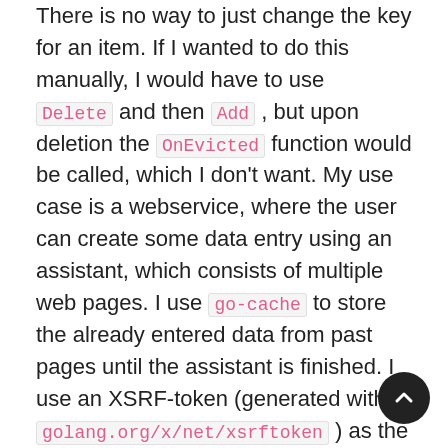There is no way to just change the key for an item. If I wanted to do this manually, I would have to use Delete and then Add , but upon deletion the OnEvicted function would be called, which I don't want. My use case is a webservice, where the user can create some data entry using an assistant, which consists of multiple web pages. I use go-cache to store the already entered data from past pages until the assistant is finished. I use an XSRF-token (generated with golang.org/x/net/xsrftoken ) as the key for the cache item.